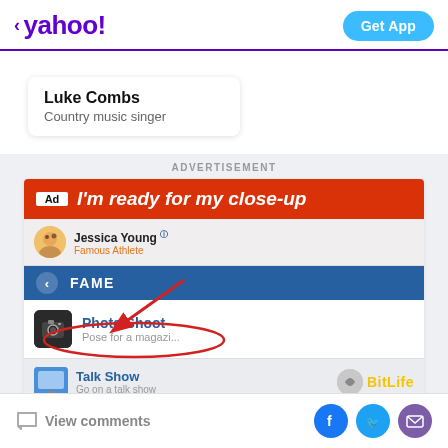< yahoo!  Get App
Luke Combs
Country music singer
ADVERTISEMENT
[Figure (screenshot): Advertisement for BitLife - Life Simulator app. Red banner with text 'Ad I'm ready for my close-up'. Below shows game UI with Jessica Young / Famous Athlete profile, a FAME menu bar, a Photo Shoot option (circled in red with arrow pointing to it), a Talk Show option, and the BitLife logo.]
BitLife - Life Simulator
View comments  [Facebook] [Twitter] [Email]